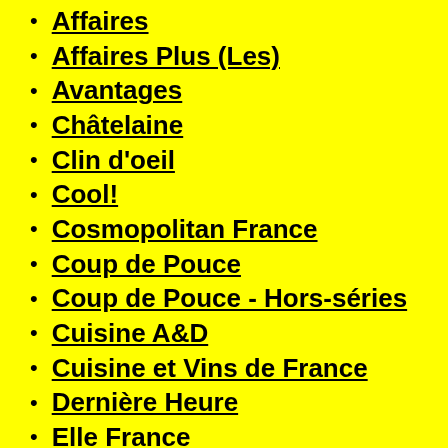Affaires
Affaires Plus (Les)
Avantages
Châtelaine
Clin d'oeil
Cool!
Cosmopolitan France
Coup de Pouce
Coup de Pouce - Hors-séries
Cuisine A&D
Cuisine et Vins de France
Dernière Heure
Elle France
Elle Québec
Express
GQ France
Idées de ma maison